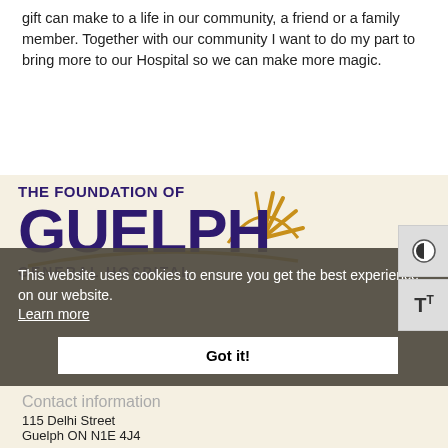gift can make to a life in our community, a friend or a family member. Together with our community I want to do my part to bring more to our Hospital so we can make more magic.
[Figure (logo): The Foundation of Guelph General Hospital logo with sun graphic and arc swoosh]
This website uses cookies to ensure you get the best experience on our website. Learn more Got it!
Contact information
115 Delhi Street
Guelph ON N1E 4J4